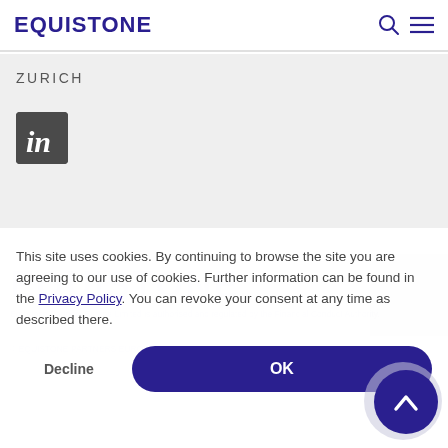EQUISTONE
ZURICH
[Figure (logo): LinkedIn icon - dark gray square with white 'in' text]
EQUISTONE (watermark)
Equistone Partners Europe Limited is authorised and regulated by the Financial Conduct Authority.
© EQUISTONE PARTNERS EUROPE
This site uses cookies. By continuing to browse the site you are agreeing to our use of cookies. Further information can be found in the Privacy Policy. You can revoke your consent at any time as described there.
Decline  OK